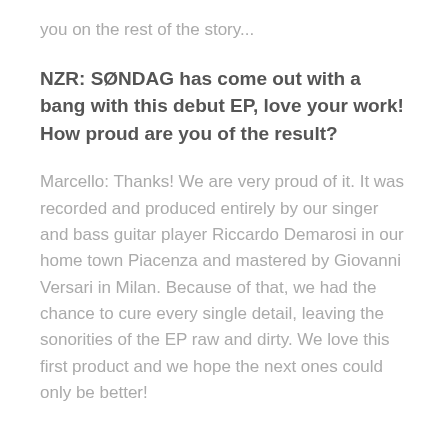you on the rest of the story...
NZR: SØNDAG has come out with a bang with this debut EP, love your work! How proud are you of the result?
Marcello: Thanks! We are very proud of it. It was recorded and produced entirely by our singer and bass guitar player Riccardo Demarosi in our home town Piacenza and mastered by Giovanni Versari in Milan. Because of that, we had the chance to cure every single detail, leaving the sonorities of the EP raw and dirty. We love this first product and we hope the next ones could only be better!